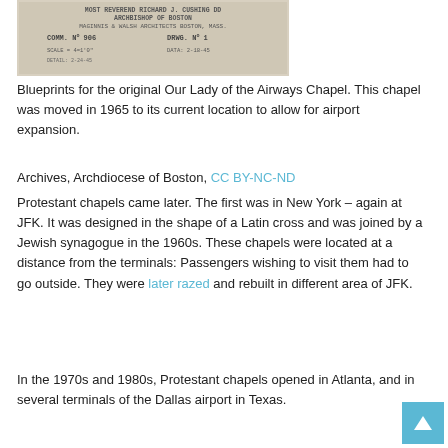[Figure (photo): Blueprints/architectural drawing document header showing text: 'MOST REVEREND RICHARD J. CUSHING DD ARCHBISHOP OF BOSTON, MAGINNIS & WALSH ARCHITECTS BOSTON MASS, COMM. No 906, DRWG. No 1, DATA: 2-18-45, SCALE: 4=1'0"']
Blueprints for the original Our Lady of the Airways Chapel. This chapel was moved in 1965 to its current location to allow for airport expansion.
Archives, Archdiocese of Boston, CC BY-NC-ND
Protestant chapels came later. The first was in New York – again at JFK. It was designed in the shape of a Latin cross and was joined by a Jewish synagogue in the 1960s. These chapels were located at a distance from the terminals: Passengers wishing to visit them had to go outside. They were later razed and rebuilt in different area of JFK.
In the 1970s and 1980s, Protestant chapels opened in Atlanta, and in several terminals of the Dallas airport in Texas.